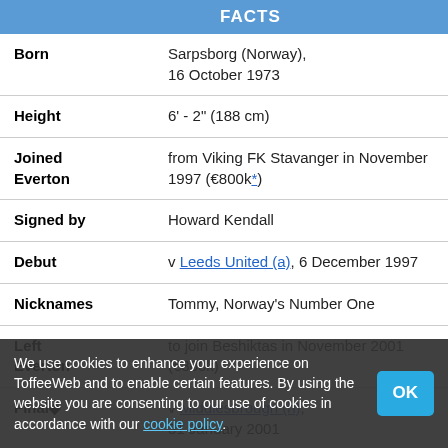FACTS
| Field | Value |
| --- | --- |
| Born | Sarpsborg (Norway), 16 October 1973 |
| Height | 6' - 2" (188 cm) |
| Joined Everton | from Viking FK Stavanger in November 1997 (€800k*) |
| Signed by | Howard Kendall |
| Debut | v Leeds United (a), 6 December 1997 |
| Nicknames | Tommy, Norway's Number One |
| Left Everton | to join Beshiktas in November 2001 (€300k) |
| Final | v Middlesbrough (h), 31 January 2001 |
| Honours | Norway U-21; Norway International (13 caps) |
We use cookies to enhance your experience on ToffeeWeb and to enable certain features. By using the website you are consenting to our use of cookies in accordance with our cookie policy.